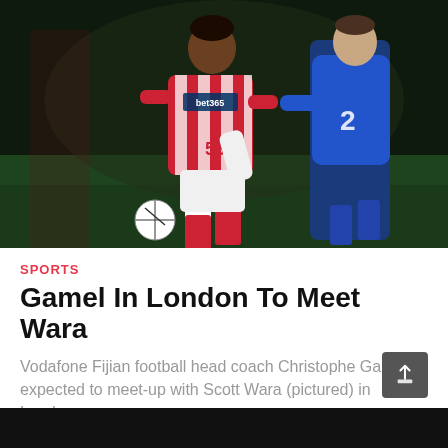[Figure (photo): Two football players on a dark pitch. One player in red and white striped kit with 'bet365' sponsor and number 58, dribbling a ball. Another player in blue kit with number 2 on the right side.]
SPORTS
Gamel In London To Meet Wara
Vodafone Fijian football head coach Christophe Gamel is expected to meet-up with Scott Wara (pictured) in London som...
by Ritesh Kumar, Suva
[Figure (photo): Dark bottom strip, partially visible second article photo at the very bottom of the page.]